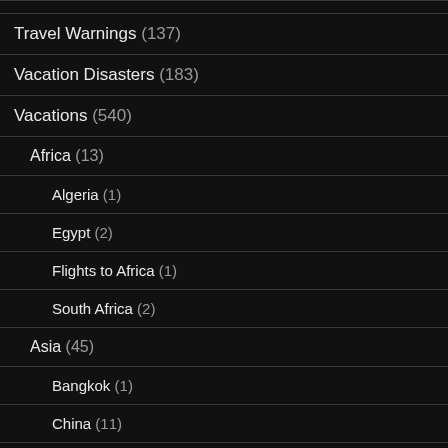Travel Tips (...)
Travel Warnings (137)
Vacation Disasters (183)
Vacations (540)
Africa (13)
Algeria (1)
Egypt (2)
Flights to Africa (1)
South Africa (2)
Asia (45)
Bangkok (1)
China (11)
Hong Kong (6)